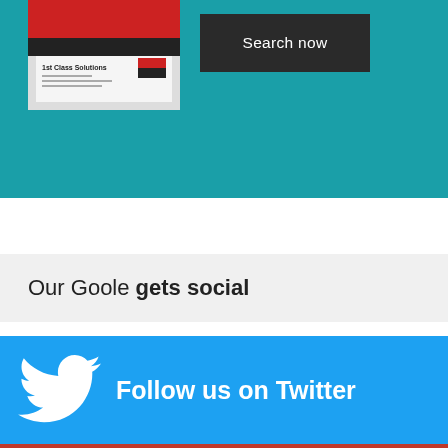[Figure (screenshot): Business card image with red and black design reading '1st Class Solutions' with contact details, shown on teal background]
[Figure (other): Black 'Search now' button on teal background]
Our Goole gets social
[Figure (other): Twitter follow banner with white Twitter bird logo and text 'Follow us on Twitter' on blue background]
We use cookies to ensure that we give you the best experience on our website. Please read our Cookie Policy to see the cookies we use, and why.